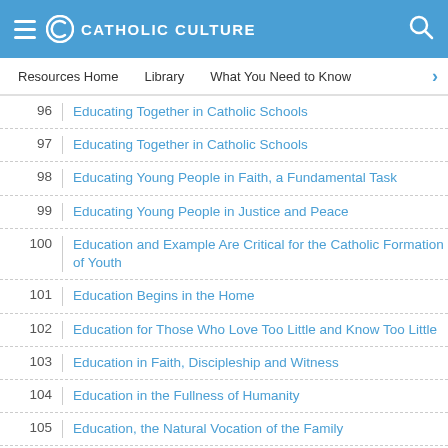Catholic Culture
Resources Home  Library  What You Need to Know
96  Educating Together in Catholic Schools
97  Educating Together in Catholic Schools
98  Educating Young People in Faith, a Fundamental Task
99  Educating Young People in Justice and Peace
100  Education and Example Are Critical for the Catholic Formation of Youth
101  Education Begins in the Home
102  Education for Those Who Love Too Little and Know Too Little
103  Education in Faith, Discipleship and Witness
104  Education in the Fullness of Humanity
105  Education, the Natural Vocation of the Family
106  Education: Helping New Generations Relate to the World
107  Educational Guidance in Human Love
108  Educators Mission Is to Form the Diocesan Presbyter According to the Pedagogy of St. Ignatius Exercises